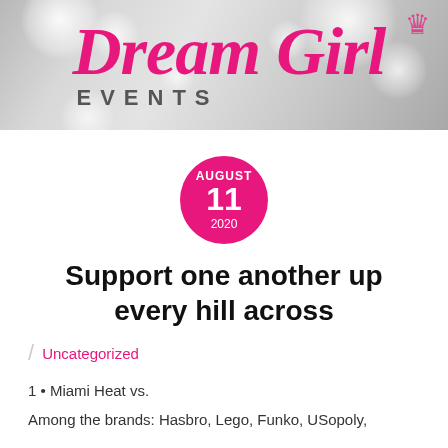[Figure (logo): Dream Girl Events logo with cursive pink 'Dream Girl' text above bold grey 'EVENTS' lettering, on a silver bokeh background]
AUGUST 11 2020
Support one another up every hill across
Uncategorized
1 • Miami Heat vs.
Among the brands: Hasbro, Lego, Funko, USopoly,